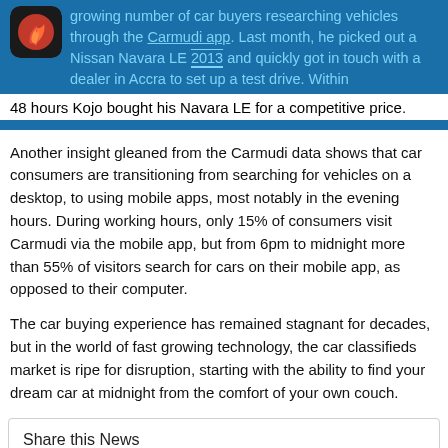growing number of car buyers researching vehicles through the Carmudi app. Last month, he picked out a Nissan Navara LE 2013 and quickly got in touch with a dealer in Accra to set up a test drive. Within 48 hours Kojo bought his Navara LE for a competitive price.
Another insight gleaned from the Carmudi data shows that car consumers are transitioning from searching for vehicles on a desktop, to using mobile apps, most notably in the evening hours. During working hours, only 15% of consumers visit Carmudi via the mobile app, but from 6pm to midnight more than 55% of visitors search for cars on their mobile app, as opposed to their computer.
The car buying experience has remained stagnant for decades, but in the world of fast growing technology, the car classifieds market is ripe for disruption, starting with the ability to find your dream car at midnight from the comfort of your own couch.
Share this News
Share |
Subscribe to our Daily Newsletter here